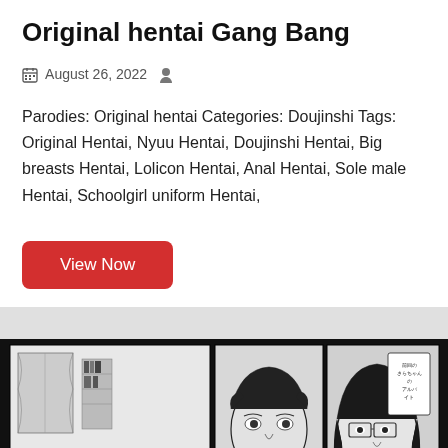Original hentai Gang Bang
August 26, 2022
Parodies: Original hentai Categories: Doujinshi Tags: Original Hentai, Nyuu Hentai, Doujinshi Hentai, Big breasts Hentai, Lolicon Hentai, Anal Hentai, Sole male Hentai, Schoolgirl uniform Hentai,
View Now
[Figure (illustration): Black and white manga comic page showing three panels: a room scene with a character sitting, a close-up of a male character's face, and a close-up of a female character with glasses and dark hair. Japanese text speech bubbles are present.]